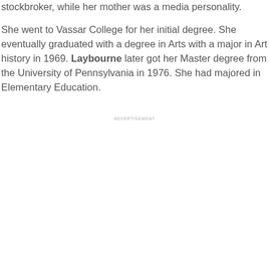stockbroker, while her mother was a media personality.
She went to Vassar College for her initial degree. She eventually graduated with a degree in Arts with a major in Art history in 1969. Laybourne later got her Master degree from the University of Pennsylvania in 1976. She had majored in Elementary Education.
ADVERTISEMENT